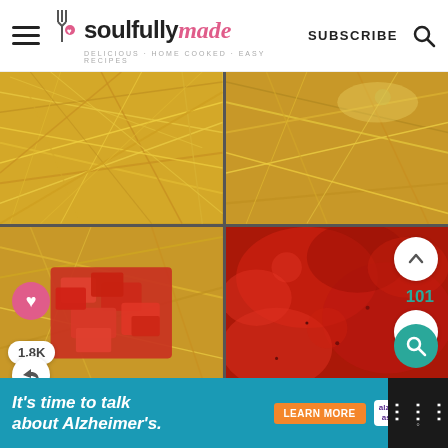soulfully made — DELICIOUS · HOME COOKED · EASY RECIPES | SUBSCRIBE
[Figure (photo): Four-panel food photo grid: top-left shows dry vermicelli/angel hair pasta noodles spread out, top-right shows liquid being poured over dry pasta noodles, bottom-left shows diced canned tomatoes placed on top of pasta noodles in a pan, bottom-right shows a thick red tomato pasta sauce closeup]
[Figure (screenshot): Social share overlay on left bottom: pink heart badge, 1.8K count badge, share icon; on right: white up-arrow badge, 101 count in teal, white heart badge in teal, teal search badge]
[Figure (photo): Advertisement banner: teal background with white italic text 'It's time to talk about Alzheimer's.' with orange LEARN MORE button, Alzheimer's Association logo, close button, and partial dark panel on right with audio/speaker icon]